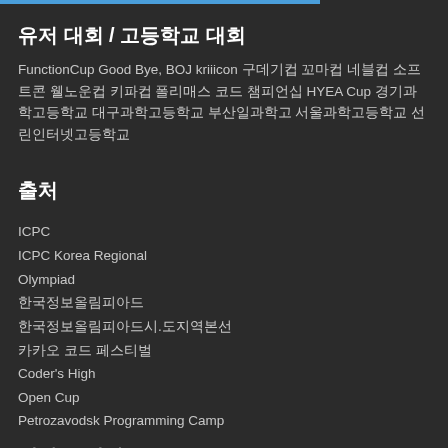유저 대회 / 고등학교 대회
FunctionCup Good Bye, BOJ kriiicon 구데기컵 꼬마컵 네블컵 소프트콘 웰노운컵 키파컵 폴리매스 코드 챔피언십 HYEA Cup 경기과학고등학교 대구과학고등학교 부산일과학고 서울과학고등학교 선린인터넷고등학교
출처
ICPC
ICPC Korea Regional
Olympiad
한국정보올림피아드
한국정보올림피아드시.도지역본선
카카오 코드 페스티벌
Coder's High
Open Cup
Petrozavodsk Programming Camp
대학교 대회
KAIST POSTECH UNIST 가톨릭대학교 강원대학교 건국대학교 경북대학교 고려대학교 광주과학기술원 국민대학교 서강대학교 서울대학교